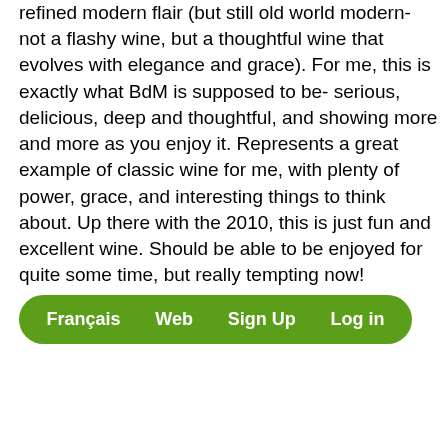refined modern flair (but still old world modern- not a flashy wine, but a thoughtful wine that evolves with elegance and grace). For me, this is exactly what BdM is supposed to be- serious, delicious, deep and thoughtful, and showing more and more as you enjoy it. Represents a great example of classic wine for me, with plenty of power, grace, and interesting things to think about. Up there with the 2010, this is just fun and excellent wine. Should be able to be enjoyed for quite some time, but really tempting now!
[Figure (other): Navigation bar with green rounded rectangle background containing links: Français, Web, Sign Up, Log in]